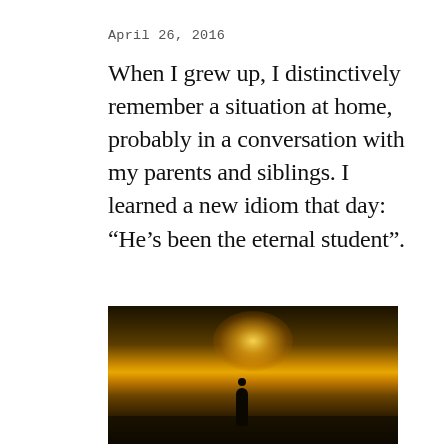April 26, 2016
When I grew up, I distinctively remember a situation at home, probably in a conversation with my parents and siblings. I learned a new idiom that day: “He’s been the eternal student”.
Read More →
[Figure (photo): Dark moody photograph of a person standing on a street or path at night, with a warm amber street lamp glow illuminating the scene from above. The silhouette of a lone figure is visible against the dark background.]